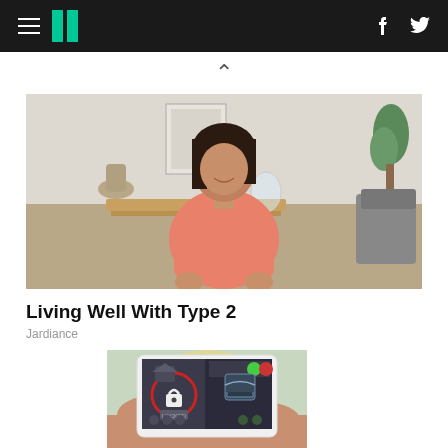HuffPost navigation with hamburger menu, logo, Facebook and Twitter icons
[Figure (photo): Woman in pink/salmon shirt seated in a living room setting with wooden table and decor in background]
Living Well With Type 2
Jardiance
[Figure (photo): Hands holding a tablet/iPad showing a smart home security lock app with locked status indicator]